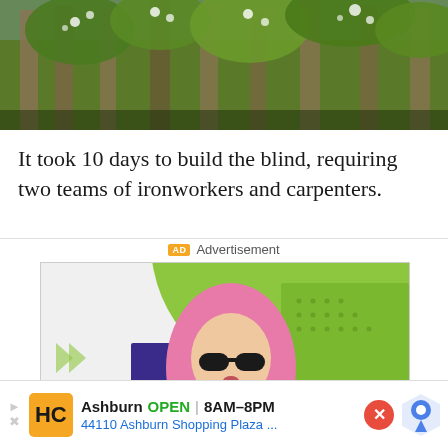[Figure (photo): Photo of a building exterior with green foliage/plants and trees visible against the facade]
It took 10 days to build the blind, requiring two teams of ironworkers and carpenters.
Advertisement
[Figure (photo): Advertisement image showing a woman with pink hair and sunglasses wearing a green jacket, against a colorful geometric background with lime green, purple, and blue shapes]
[Figure (infographic): Bottom banner ad: Ashburn OPEN 8AM-8PM, 44110 Ashburn Shopping Plaza... with HC logo in orange]